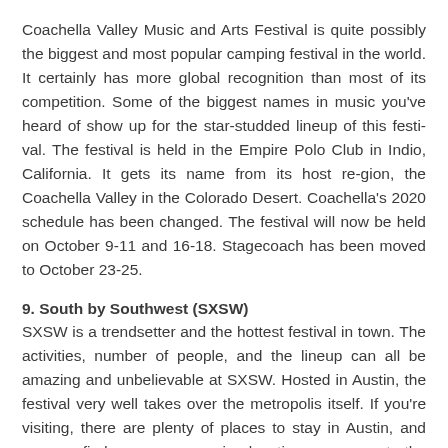Coachella Valley Music and Arts Festival is quite possibly the biggest and most popular camping festival in the world. It certainly has more global recognition than most of its competition. Some of the biggest names in music you've heard of show up for the star-studded lineup of this festi-val. The festival is held in the Empire Polo Club in Indio, California. It gets its name from its host re-gion, the Coachella Valley in the Colorado Desert. Coachella's 2020 schedule has been changed. The festival will now be held on October 9-11 and 16-18. Stagecoach has been moved to October 23-25.
9. South by Southwest (SXSW)
SXSW is a trendsetter and the hottest festival in town. The activities, number of people, and the lineup can all be amazing and unbelievable at SXSW. Hosted in Austin, the festival very well takes over the metropolis itself. If you're visiting, there are plenty of places to stay in Austin, and you can find awesome camping locations very near to the city. The festival is usually held in March, though it has been postponed this year.